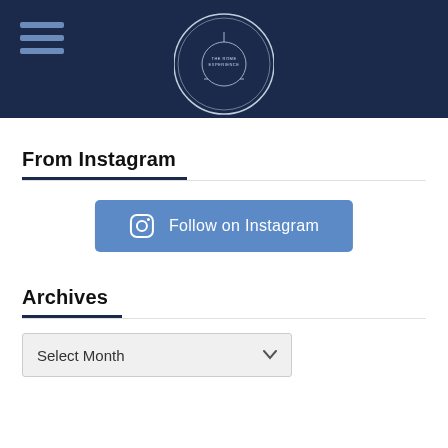[Figure (logo): Circular navy blue logo with a dome/capitol building illustration and text 'THE ROME EXPERIENCE' in the center, surrounded by text around the border]
From Instagram
[Figure (other): Blue rounded rectangle button with Instagram camera icon and text 'Follow on Instagram']
Archives
Select Month